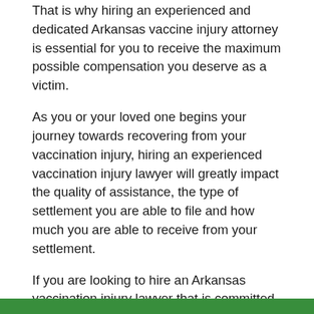That is why hiring an experienced and dedicated Arkansas vaccine injury attorney is essential for you to receive the maximum possible compensation you deserve as a victim.
As you or your loved one begins your journey towards recovering from your vaccination injury, hiring an experienced vaccination injury lawyer will greatly impact the quality of assistance, the type of settlement you are able to file and how much you are able to receive from your settlement.
If you are looking to hire an Arkansas vaccination injury lawyer that is committed to fighting for you and to providing you with the best possible legal help for your injury or for the injury of your loved one, we are here for you. We can even help you connect with an attorney across Arkansas state lines.
Submit a request online or call us today at (866) 345-6784 to get in touch with an experienced lawyer in your area!